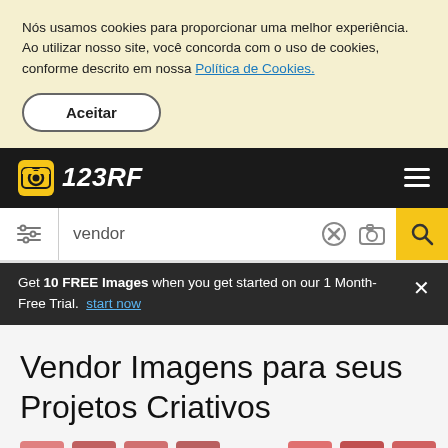Nós usamos cookies para proporcionar uma melhor experiência. Ao utilizar nosso site, você concorda com o uso de cookies, conforme descrito em nossa Política de Cookies.
Aceitar
[Figure (logo): 123RF logo with camera icon on dark navigation bar]
[Figure (screenshot): Search bar with filter icon, 'vendor' query text, clear and camera icons, and yellow search button]
Get 10 FREE Images when you get started on our 1 Month-Free Trial. start now
Vendor Imagens para seus Projetos Criativos
[Figure (photo): Partial view of image thumbnails at the bottom of the page]